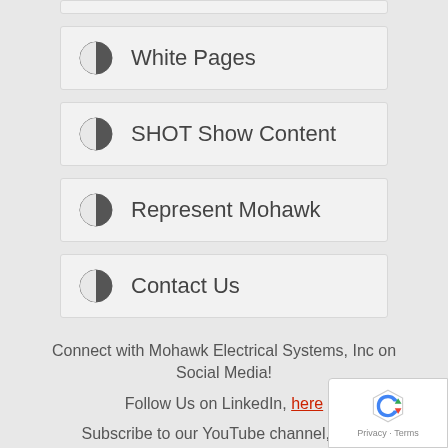White Pages
SHOT Show Content
Represent Mohawk
Contact Us
Connect with Mohawk Electrical Systems, Inc on Social Media!
Follow Us on LinkedIn, here
Subscribe to our YouTube channel, here